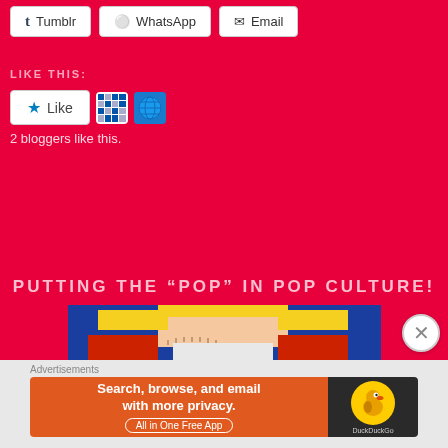[Figure (screenshot): Share buttons row: Tumblr, WhatsApp, Email on white pill buttons against red background]
LIKE THIS:
[Figure (screenshot): Like button widget with star icon, two blogger avatars (pixel grid icon and globe icon), showing 2 bloggers like this]
2 bloggers like this.
PUTTING THE “POP” IN POP CULTURE!
[Figure (illustration): Cropped comic book style illustration showing a character in blue/yellow/red costume]
Advertisements
[Figure (screenshot): DuckDuckGo advertisement banner: Search, browse, and email with more privacy. All in One Free App]